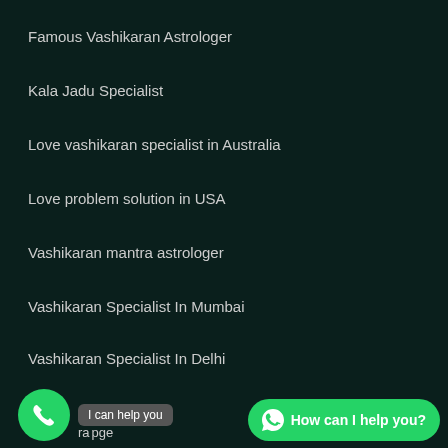Famous Vashikaran Astrologer
Kala Jadu Specialist
Love vashikaran specialist in Australia
Love problem solution in USA
Vashikaran mantra astrologer
Vashikaran Specialist In Mumbai
Vashikaran Specialist In Delhi
vashikaran specialist in India
I can help you | How can I help you?